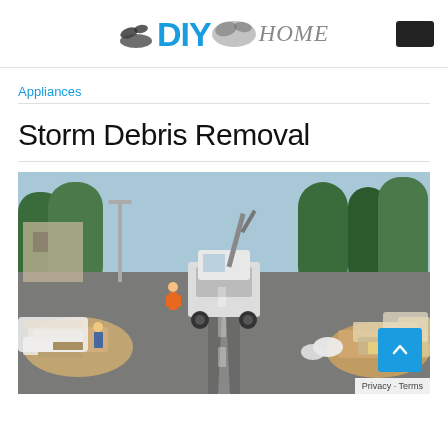DIY HOME
Appliances
Storm Debris Removal
[Figure (photo): Street scene showing storm debris removal. Large piles of debris, mattresses, foam, lumber, and household items line both sides of a residential street. A large truck with crane/claw equipment is in the middle of the street collecting debris. Workers in orange vests are visible. Palm trees and houses are in the background under a clear sky.]